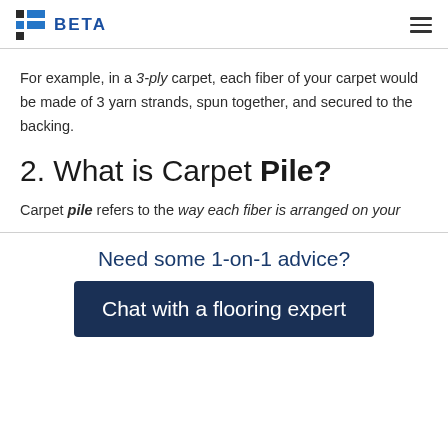BETA
For example, in a 3-ply carpet, each fiber of your carpet would be made of 3 yarn strands, spun together, and secured to the backing.
2. What is Carpet Pile?
Carpet pile refers to the way each fiber is arranged on your
Need some 1-on-1 advice?
Chat with a flooring expert